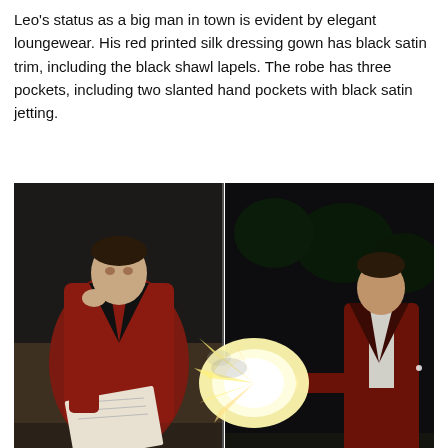Leo's status as a big man in town is evident by elegant loungewear. His red printed silk dressing gown has black satin trim, including the black shawl lapels. The robe has three pockets, including two slanted hand pockets with black satin jetting.
[Figure (photo): Two side-by-side movie stills: left shows a man in a red silk dressing gown reclining and reading papers; right shows the same or similar man in a dark red jacket firing a gun with a large muzzle flash in a dark outdoor setting.]
[Figure (screenshot): Advertisement banner: infolinks header bar in dark blue, followed by a Belk department store ad with thumbnails, brand name BELK, tagline 'Step out in style.', URL www.belk.com, and a blue circular arrow button on the right.]